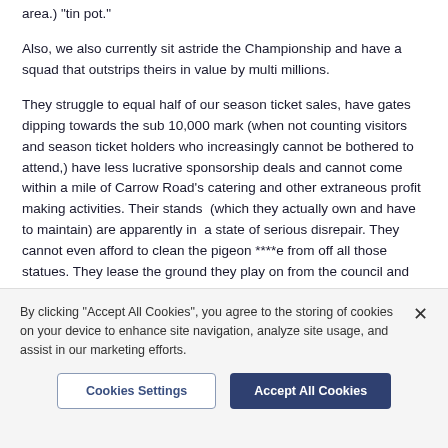area.) "tin pot."
Also, we also currently sit astride the Championship and have a squad that outstrips theirs in value by multi millions.
They struggle to equal half of our season ticket sales, have gates dipping towards the sub 10,000 mark (when not counting visitors and season ticket holders who increasingly cannot be bothered to attend,) have less lucrative sponsorship deals and cannot come within a mile of Carrow Road's catering and other extraneous profit making activities. Their stands  (which they actually own and have to maintain) are apparently in  a state of serious disrepair. They cannot even afford to clean the pigeon ****e from off all those statues. They lease the ground they play on from the council and rent their training ground.
By clicking "Accept All Cookies", you agree to the storing of cookies on your device to enhance site navigation, analyze site usage, and assist in our marketing efforts.
Cookies Settings
Accept All Cookies